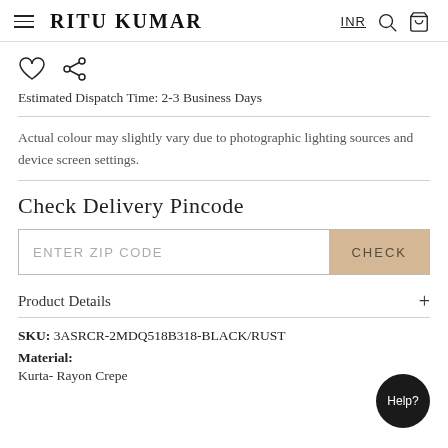RITU KUMAR  INR
Estimated Dispatch Time: 2-3 Business Days
Actual colour may slightly vary due to photographic lighting sources and device screen settings.
Check Delivery Pincode
ENTER ZIP CODE  CHECK
Product Details
SKU: 3ASRCR-2MDQ518B318-BLACK/RUST
Material:
Kurta- Rayon Crepe